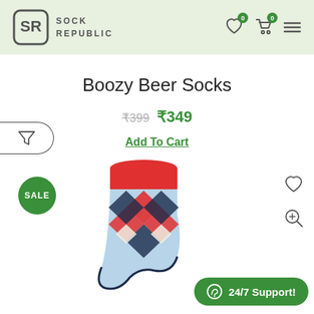[Figure (logo): Sock Republic logo with SR monogram in rounded rectangle and brand name text]
Boozy Beer Socks
₹399  ₹349
Add To Cart
[Figure (photo): Colorful argyle-pattern sock with red, blue, white and navy diamond pattern, shown as a product photo on white background with SALE badge, heart icon, and zoom icon]
24/7 Support!